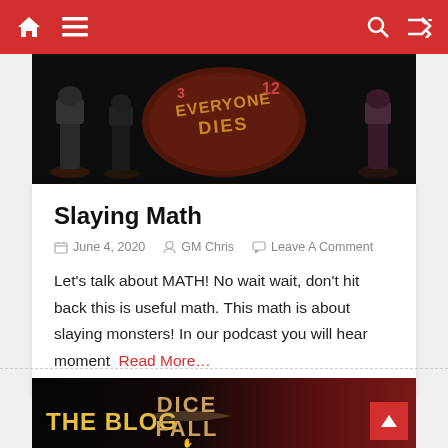Navigation bar with home, menu, search, and shuffle icons
[Figure (photo): Banner image showing tabletop miniature figures on dark background with 'Everyone Dies' text logo in the center]
Slaying Math
June 4, 2020  GM Chris  Leave A Comment
Let's talk about MATH! No wait wait, don't hit back this is useful math. This math is about slaying monsters! In our podcast you will hear moment  Read More…
[Figure (photo): Bottom banner image showing 'THE BLOG' text on left in yellow, 'DICE FALL' logo text in center, on dark red background, with scroll-to-top button on right]